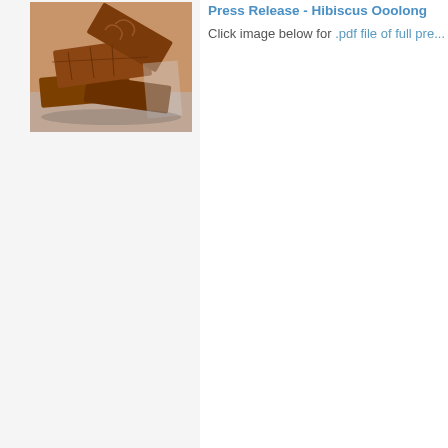[Figure (photo): Photograph of stacked pieces of milk chocolate bars on a light surface]
Press Release - Hibiscus Ooolong
Click image below for .pdf file of full pre...